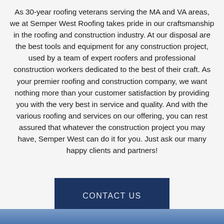As 30-year roofing veterans serving the MA and VA areas, we at Semper West Roofing takes pride in our craftsmanship in the roofing and construction industry. At our disposal are the best tools and equipment for any construction project, used by a team of expert roofers and professional construction workers dedicated to the best of their craft. As your premier roofing and construction company, we want nothing more than your customer satisfaction by providing you with the very best in service and quality. And with the various roofing and services on our offering, you can rest assured that whatever the construction project you may have, Semper West can do it for you. Just ask our many happy clients and partners!
[Figure (other): Dark navy blue button labeled CONTACT US]